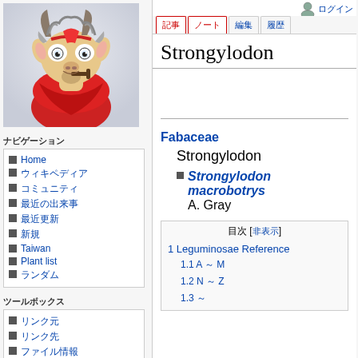[Figure (illustration): Cartoon goat with red bandana and pipe, Wikipedia/wiki mascot style illustration]
ナビゲーション
Home
ウィキペディア
コミュニティ
最近の出来事
最近更新
新規
Taiwan
Plant list
ランダム
ツールボックス
リンク元
リンク先
ファイル情報
ログイン
Strongylodon
Fabaceae
Strongylodon
Strongylodon macrobotrys
A. Gray
| 目次 [非表示] |
| --- |
| 1 Leguminosae Reference |
| 1.1 A ～ M |
| 1.2 N ～ Z |
| 1.3 ～ |